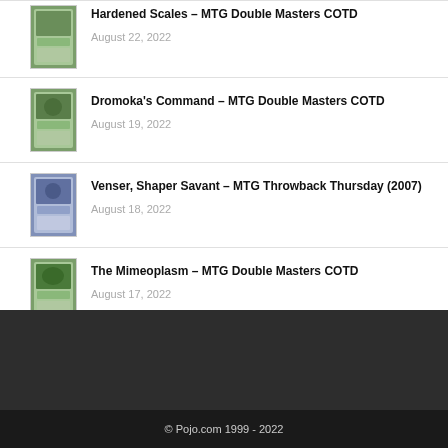Hardened Scales – MTG Double Masters COTD | August 22, 2022
Dromoka's Command – MTG Double Masters COTD | August 19, 2022
Venser, Shaper Savant – MTG Throwback Thursday (2007) | August 18, 2022
The Mimeoplasm – MTG Double Masters COTD | August 17, 2022
© Pojo.com 1999 - 2022